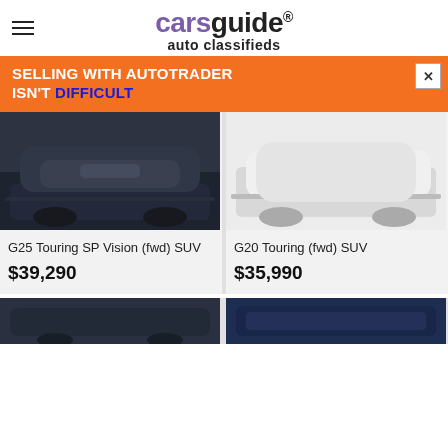carsguide® auto classifieds
[Figure (screenshot): Orange advertisement banner: SELLING WITH AUTOTRADER ISN'T DIFFICULT with close button]
[Figure (photo): Dark navy Mazda CX-30 SUV parked in front of Mazda dealership]
G25 Touring SP Vision (fwd) SUV
$39,290
[Figure (photo): White Mazda CX-30 SUV on light background]
G20 Touring (fwd) SUV
$35,990
[Figure (photo): Partial view of dark car at bottom left]
[Figure (photo): Partial view of dark blue car showroom at bottom right]